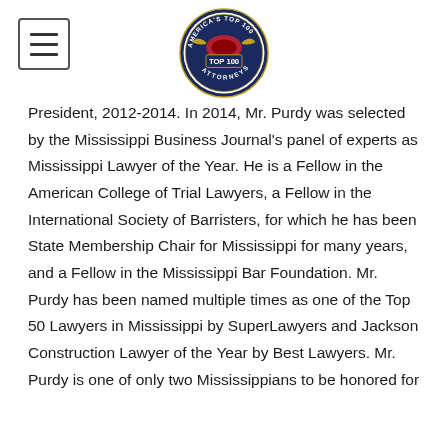[Figure (logo): America's Top 100 Attorneys circular badge logo with eagle wings and 'TOP 100' text]
President, 2012-2014. In 2014, Mr. Purdy was selected by the Mississippi Business Journal's panel of experts as Mississippi Lawyer of the Year. He is a Fellow in the American College of Trial Lawyers, a Fellow in the International Society of Barristers, for which he has been State Membership Chair for Mississippi for many years, and a Fellow in the Mississippi Bar Foundation. Mr. Purdy has been named multiple times as one of the Top 50 Lawyers in Mississippi by SuperLawyers and Jackson Construction Lawyer of the Year by Best Lawyers. Mr. Purdy is one of only two Mississippians to be honored for